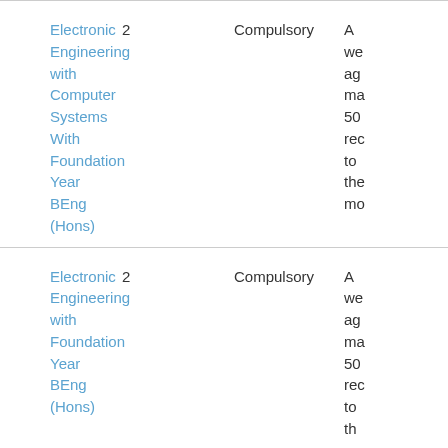| Programme | Year | Type | Description |
| --- | --- | --- | --- |
| Electronic Engineering with Computer Systems With Foundation Year BEng (Hons) | 2 | Compulsory | A we ag ma 50 rec to the mo |
| Electronic Engineering with Foundation Year BEng (Hons) | 2 | Compulsory | A we ag ma 50 rec to th... |